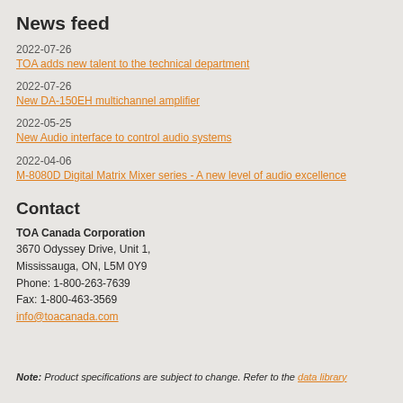News feed
2022-07-26
TOA adds new talent to the technical department
2022-07-26
New DA-150EH multichannel amplifier
2022-05-25
New Audio interface to control audio systems
2022-04-06
M-8080D Digital Matrix Mixer series - A new level of audio excellence
Contact
TOA Canada Corporation
3670 Odyssey Drive, Unit 1,
Mississauga, ON, L5M 0Y9
Phone: 1-800-263-7639
Fax: 1-800-463-3569
info@toacanada.com
Note: Product specifications are subject to change. Refer to the data library